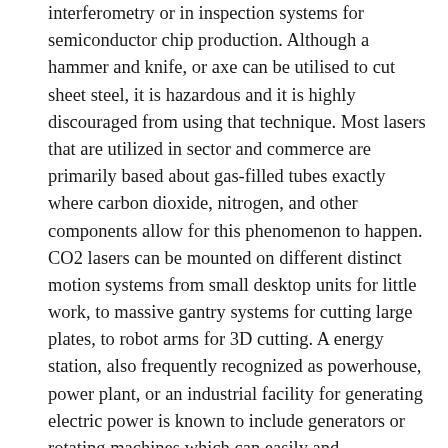interferometry or in inspection systems for semiconductor chip production. Although a hammer and knife, or axe can be utilised to cut sheet steel, it is hazardous and it is highly discouraged from using that technique. Most lasers that are utilized in sector and commerce are primarily based about gas-filled tubes exactly where carbon dioxide, nitrogen, and other components allow for this phenomenon to happen. CO2 lasers can be mounted on different distinct motion systems from small desktop units for little work, to massive gantry systems for cutting large plates, to robot arms for 3D cutting. A energy station, also frequently recognized as powerhouse, power plant, or an industrial facility for generating electric power is known to include generators or rotating machines which can easily and effortlessly convert mechanical power to electrical power. Understanding how the laser functions is the hardest component about laser cutting, but that will be the least of your worries as soon as that is taken care of. I think something is attainable with the use of a laser and